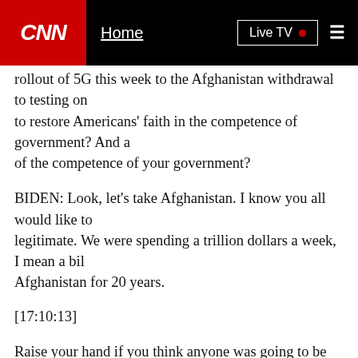CNN | Home | Live TV
rollout of 5G this week to the Afghanistan withdrawal to testing on to restore Americans' faith in the competence of government? And a of the competence of your government?
BIDEN: Look, let's take Afghanistan. I know you all would like to legitimate. We were spending a trillion dollars a week, I mean a bil Afghanistan for 20 years.
[17:10:13]
Raise your hand if you think anyone was going to be able to unify A government. We spent the graveyard of empires for solid reason. It number one. So, the question was, do I continue to spend that much of Afghanistan knowing that the idea that being able to succeed oth